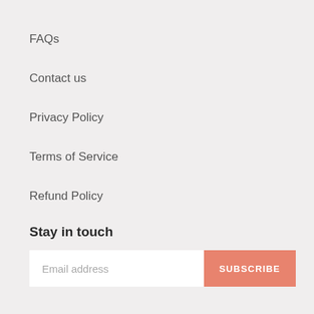FAQs
Contact us
Privacy Policy
Terms of Service
Refund Policy
Stay in touch
Email address  SUBSCRIBE